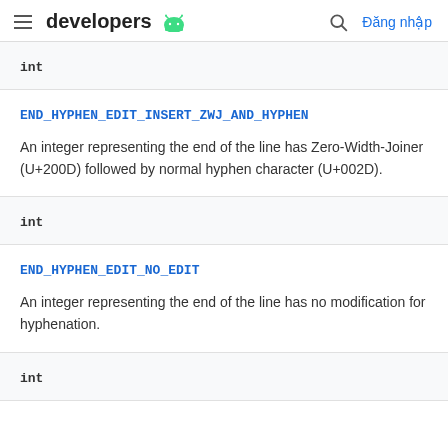developers | Đăng nhập
int
END_HYPHEN_EDIT_INSERT_ZWJ_AND_HYPHEN
An integer representing the end of the line has Zero-Width-Joiner (U+200D) followed by normal hyphen character (U+002D).
int
END_HYPHEN_EDIT_NO_EDIT
An integer representing the end of the line has no modification for hyphenation.
int